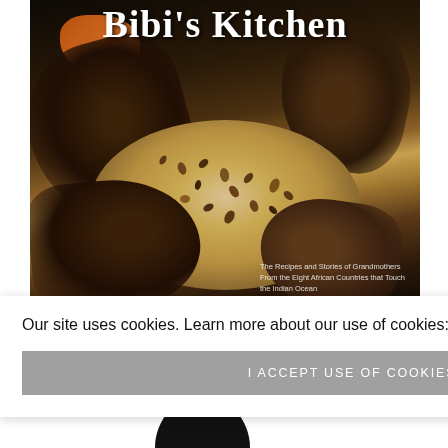[Figure (photo): Book cover of 'Bibi's Kitchen' showing multiple hands sorting seeds/beans on a light surface, with the title text at the top and subtitle at bottom right reading 'The Recipes and Stories of Grandmothers From the Eight African Countries that Touch the Indian Ocean']
Our site uses cookies. Learn more about our use of cookies: cookie policy
I ACCEPT USE OF COOKIES
rdcover]
Scroll To Top